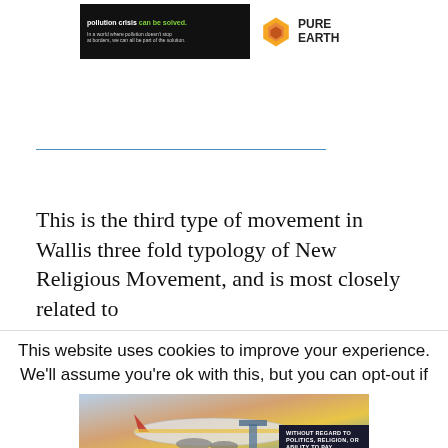[Figure (logo): Pure Earth advertisement banner with dark background on the left reading 'pollution crisis can be solved.' and Pure Earth logo with diamond shape on the right]
[Figure (other): Horizontal blue divider line]
This is the third type of movement in Wallis three fold typology of New Religious Movement, and is most closely related to
This website uses cookies to improve your experience. We'll assume you're ok with this, but you can opt-out if
[Figure (photo): Cargo airplane being loaded at an airport with colorful livery. Overlay banner reads WITHOUT REGARD TO POLITICS, RELIGION, OR ABILITY TO PAY]